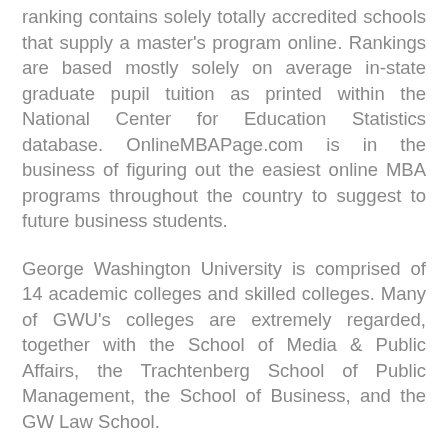ranking contains solely totally accredited schools that supply a master's program online. Rankings are based mostly solely on average in-state graduate pupil tuition as printed within the National Center for Education Statistics database. OnlineMBAPage.com is in the business of figuring out the easiest online MBA programs throughout the country to suggest to future business students.
George Washington University is comprised of 14 academic colleges and skilled colleges. Many of GWU's colleges are extremely regarded, together with the School of Media & Public Affairs, the Trachtenberg School of Public Management, the School of Business, and the GW Law School.